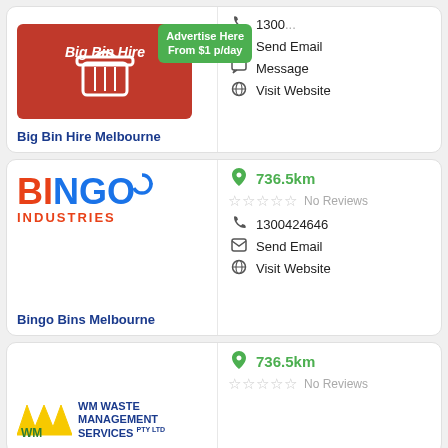[Figure (logo): Big Bin Hire Melbourne logo on red background with white bin icon]
Big Bin Hire Melbourne
Advertise Here From $1 p/day
1300...
Send Email
Message
Visit Website
[Figure (logo): Bingo Industries logo - BINGO in red/blue letters, INDUSTRIES in red]
Bingo Bins Melbourne
736.5km
No Reviews
1300424646
Send Email
Visit Website
[Figure (logo): WM Waste Management Services logo]
736.5km
No Reviews